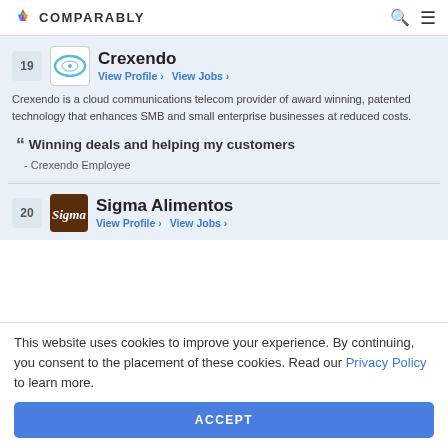COMPARABLY
19 Crexendo View Profile › View Jobs ›
Crexendo is a cloud communications telecom provider of award winning, patented technology that enhances SMB and small enterprise businesses at reduced costs.
" Winning deals and helping my customers
- Crexendo Employee
20 Sigma Alimentos View Profile › View Jobs ›
This website uses cookies to improve your experience. By continuing, you consent to the placement of these cookies. Read our Privacy Policy to learn more.